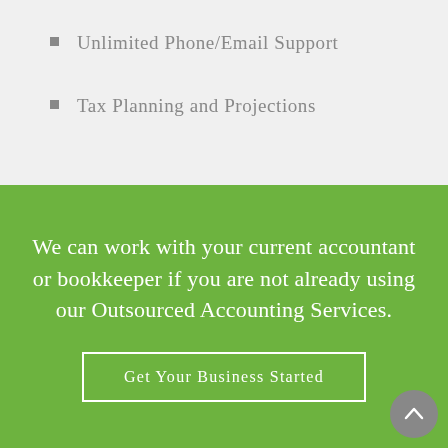Unlimited Phone/Email Support
Tax Planning and Projections
We can work with your current accountant or bookkeeper if you are not already using our Outsourced Accounting Services.
Get Your Business Started